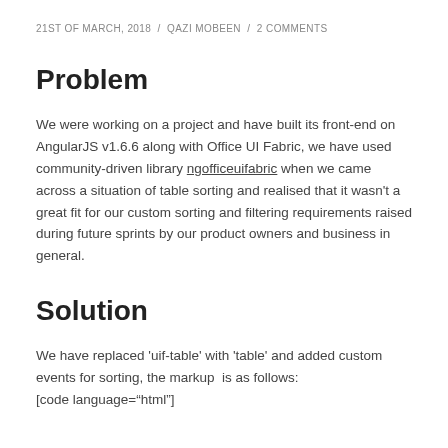21ST OF MARCH, 2018  /  QAZI MOBEEN  /  2 COMMENTS
Problem
We were working on a project and have built its front-end on AngularJS v1.6.6 along with Office UI Fabric, we have used community-driven library ngofficeuifabric when we came across a situation of table sorting and realised that it wasn't a great fit for our custom sorting and filtering requirements raised during future sprints by our product owners and business in general.
Solution
We have replaced 'uif-table' with 'table' and added custom events for sorting, the markup  is as follows:
[code language="html"]